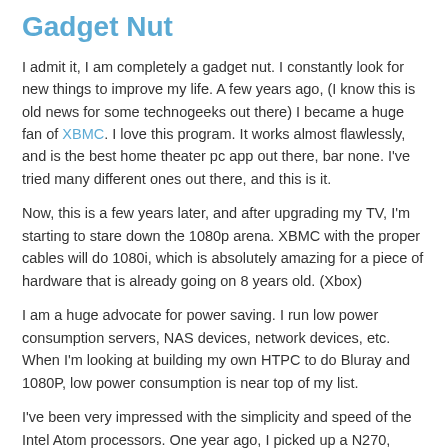Gadget Nut
I admit it, I am completely a gadget nut. I constantly look for new things to improve my life. A few years ago, (I know this is old news for some technogeeks out there) I became a huge fan of XBMC. I love this program. It works almost flawlessly, and is the best home theater pc app out there, bar none. I've tried many different ones out there, and this is it.
Now, this is a few years later, and after upgrading my TV, I'm starting to stare down the 1080p arena. XBMC with the proper cables will do 1080i, which is absolutely amazing for a piece of hardware that is already going on 8 years old. (Xbox)
I am a huge advocate for power saving. I run low power consumption servers, NAS devices, network devices, etc. When I'm looking at building my own HTPC to do Bluray and 1080P, low power consumption is near top of my list.
I've been very impressed with the simplicity and speed of the Intel Atom processors. One year ago, I picked up a N270,